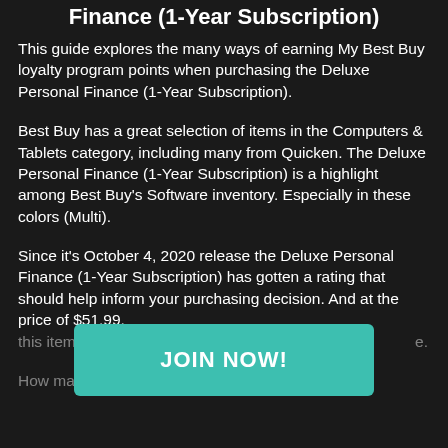Finance (1-Year Subscription)
This guide explores the many ways of earning My Best Buy loyalty program points when purchasing the Deluxe Personal Finance (1-Year Subscription).
Best Buy has a great selection of items in the Computers & Tablets category, including many from Quicken. The Deluxe Personal Finance (1-Year Subscription) is a highlight among Best Buy's Software inventory. Especially in these colors (Multi).
Since it's October 4, 2020 release the Deluxe Personal Finance (1-Year Subscription) has gotten a rating that should help inform your purchasing decision. And at the price of $51.99, this item m[obscured]ount as it is sometime[obscured]e.
How many [obscured]eward at
[Figure (other): Teal/turquoise call-to-action button overlay with text 'JOIN NOW!']